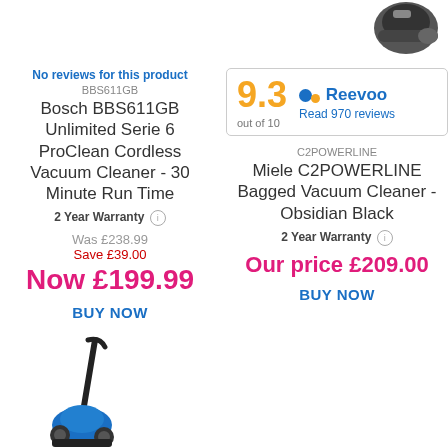[Figure (photo): Vacuum cleaner product image top right (partial, dark canister)]
No reviews for this product
BBS611GB
Bosch BBS611GB Unlimited Serie 6 ProClean Cordless Vacuum Cleaner - 30 Minute Run Time
2 Year Warranty
Was £238.99
Save £39.00
Now £199.99
BUY NOW
[Figure (infographic): Reevoo rating box: 9.3 out of 10, Read 970 reviews]
C2POWERLINE
Miele C2POWERLINE Bagged Vacuum Cleaner - Obsidian Black
2 Year Warranty
Our price £209.00
BUY NOW
[Figure (photo): Vacuum cleaner product image bottom left (upright vacuum, blue and black)]